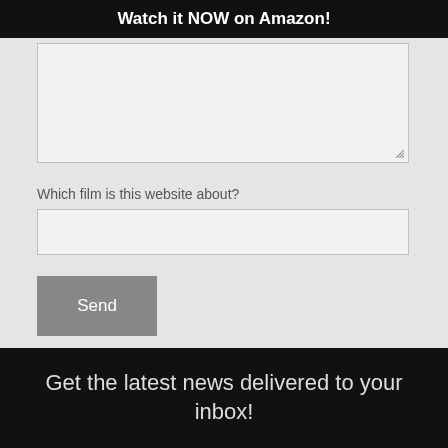Watch it NOW on Amazon!
[Figure (screenshot): A textarea input field (large empty text area) with a resize handle in the bottom-right corner]
Which film is this website about?
[Figure (screenshot): A single-line text input field]
[Figure (screenshot): A 'Send' button with gray background and white text]
Get the latest news delivered to your inbox!